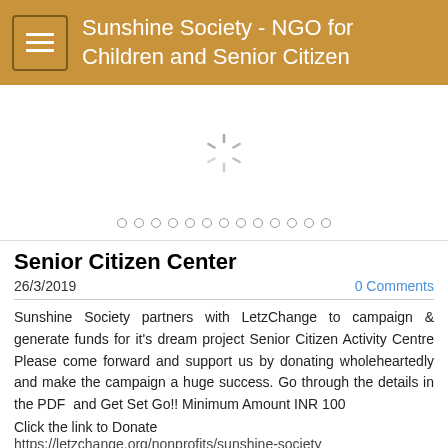Sunshine Society - NGO for Children and Senior Citizen
[Figure (other): Image slider area with a loading spinner in the center and 13 dot navigation indicators at the bottom]
Senior Citizen Center
26/3/2019
0 Comments
Sunshine Society partners with LetzChange to campaign & generate funds for it's dream project Senior Citizen Activity Centre Please come forward and support us by donating wholeheartedly and make the campaign a huge success. Go through the details in the PDF and Get Set Go!! Minimum Amount INR 100
Click the link to Donate
https://letzchange.org/nonprofits/sunshine-society